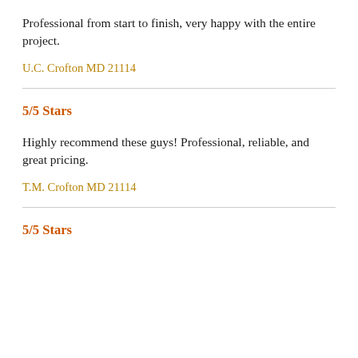Professional from start to finish, very happy with the entire project.
U.C. Crofton MD 21114
5/5 Stars
Highly recommend these guys! Professional, reliable, and great pricing.
T.M. Crofton MD 21114
5/5 Stars